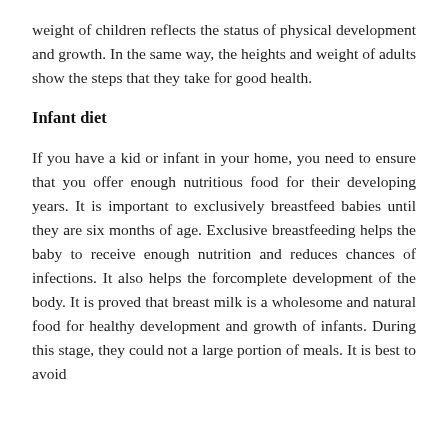weight of children reflects the status of physical development and growth. In the same way, the heights and weight of adults show the steps that they take for good health.
Infant diet
If you have a kid or infant in your home, you need to ensure that you offer enough nutritious food for their developing years. It is important to exclusively breastfeed babies until they are six months of age. Exclusive breastfeeding helps the baby to receive enough nutrition and reduces chances of infections. It also helps the forcomplete development of the body. It is proved that breast milk is a wholesome and natural food for healthy development and growth of infants. During this stage, they could not a large portion of meals. It is best to avoid